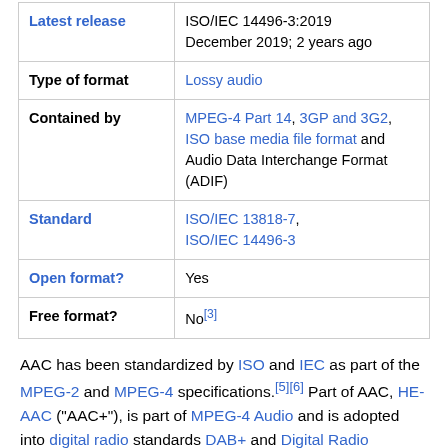| Field | Value |
| --- | --- |
| Latest release | ISO/IEC 14496-3:2019
December 2019; 2 years ago |
| Type of format | Lossy audio |
| Contained by | MPEG-4 Part 14, 3GP and 3G2, ISO base media file format and Audio Data Interchange Format (ADIF) |
| Standard | ISO/IEC 13818-7, ISO/IEC 14496-3 |
| Open format? | Yes |
| Free format? | No[3] |
AAC has been standardized by ISO and IEC as part of the MPEG-2 and MPEG-4 specifications.[5][6] Part of AAC, HE-AAC ("AAC+"), is part of MPEG-4 Audio and is adopted into digital radio standards DAB+ and Digital Radio Mondiale, and mobile television standards DVB-H and